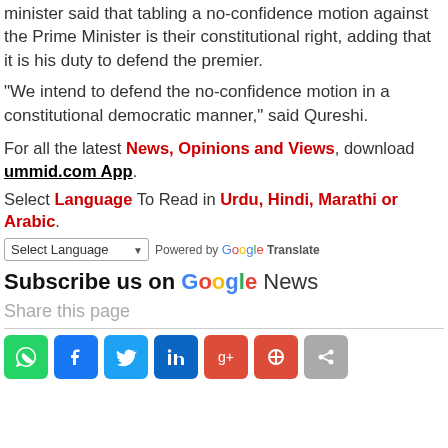minister said that tabling a no-confidence motion against the Prime Minister is their constitutional right, adding that it is his duty to defend the premier.
"We intend to defend the no-confidence motion in a constitutional democratic manner," said Qureshi.
For all the latest News, Opinions and Views, download ummid.com App.
Select Language To Read in Urdu, Hindi, Marathi or Arabic.
Select Language — Powered by Google Translate
Subscribe us on Google News
Share this page